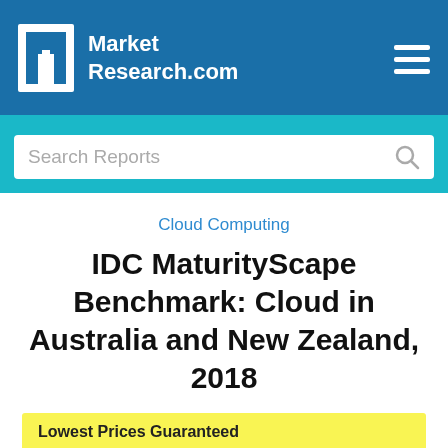MarketResearch.com
Search Reports
Cloud Computing
IDC MaturityScape Benchmark: Cloud in Australia and New Zealand, 2018
Lowest Prices Guaranteed
Price   from $4,500